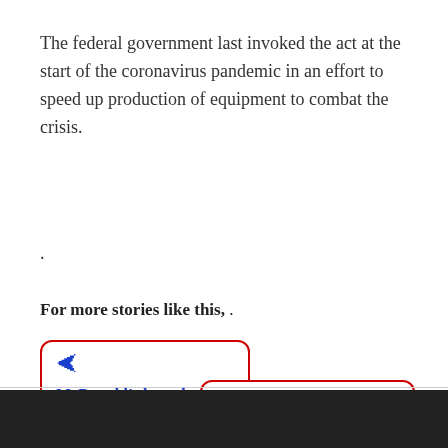The federal government last invoked the act at the start of the coronavirus pandemic in an effort to speed up production of equipment to combat the crisis.
.
For more stories like this, .
[Figure (other): Navigation card with left arrow and text 'McDonald’s lover has …' inside a red-bordered rounded rectangle]
[Figure (other): Navigation card with right arrow and text 'Swimmer survives sha…' inside a red-bordered rounded rectangle]
[Figure (photo): Dark image at the bottom of the page, appears to be a photograph]